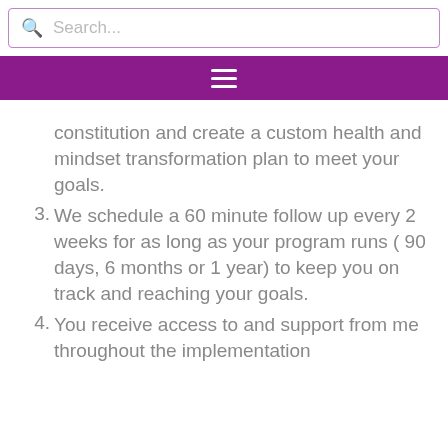Search...
constitution and create a custom health and mindset transformation plan to meet your goals.
3. We schedule a 60 minute follow up every 2 weeks for as long as your program runs ( 90 days, 6 months or 1 year) to keep you on track and reaching your goals.
4. You receive access to and support from me throughout the implementation